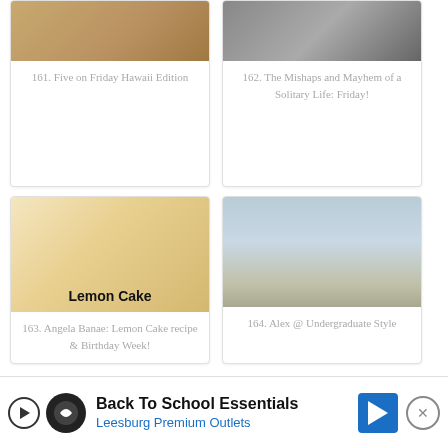[Figure (photo): Partial card top: item 161 - Five on Friday Hawaii Edition, showing a scenic photo]
161. Five on Friday Hawaii Edition
[Figure (photo): Partial card top: item 162 - The Mishaps and Mayhem of a Solitary Life: Friday!, showing luggage/travel photo]
162. The Mishaps and Mayhem of a Solitary Life: Friday!
[Figure (photo): Lemon cake on a white plate with white glaze, text overlay saying Lemon Cake]
163. Angela Banae: Lemon Cake recipe & Birthday Week!
[Figure (photo): Woman in pink sweater and black skirt sitting on a bench outdoors]
164. Alex @ Undergraduate Style
[Figure (photo): Beauty products laid out - tubes, pencils, powder]
[Figure (photo): Dark background with green italic text reading: the slender]
Back To School Essentials Leesburg Premium Outlets